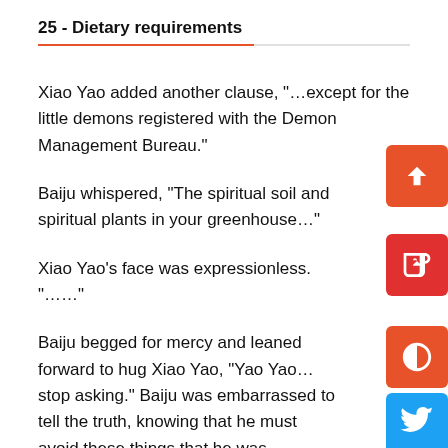25 - Dietary requirements
Xiao Yao added another clause, "…except for the little demons registered with the Demon Management Bureau."
Baiju whispered, "The spiritual soil and spiritual plants in your greenhouse..."
Xiao Yao's face was expressionless. "……"
Baiju begged for mercy and leaned forward to hug Xiao Yao, "Yao Yao…stop asking." Baiju was embarrassed to tell the truth, knowing that he must avoid these things that he was obviously not allowed to eat.